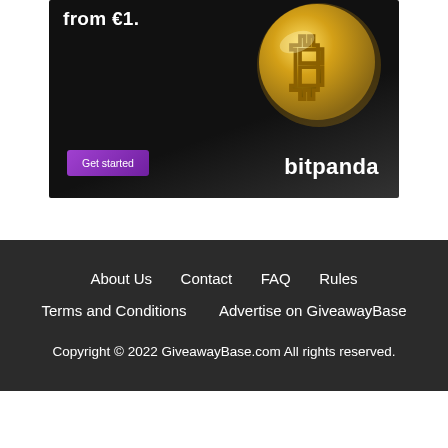[Figure (illustration): Bitpanda advertisement banner with a gold Bitcoin coin on dark background, a purple 'Get started' button, and 'bitpanda' text. Partial text 'from €1.' visible at top.]
About Us   Contact   FAQ   Rules
Terms and Conditions   Advertise on GiveawayBase
Copyright © 2022 GiveawayBase.com All rights reserved.